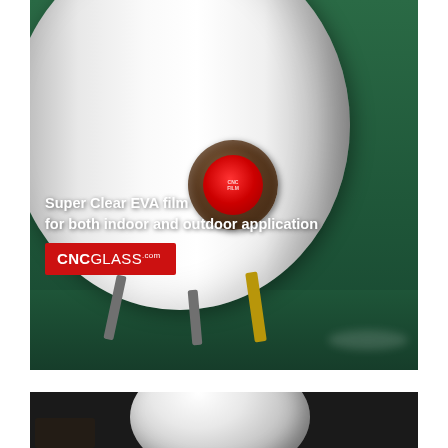[Figure (photo): A large roll of Super Clear EVA film on a metal stand, placed on a green floor background. The roll is white/translucent with a circular core end visible. Text overlay reads 'Super Clear EVA film for both indoor and outdoor application' with a red CNCGLASS.com logo badge.]
Super Clear EVA film for both indoor and outdoor application
[Figure (photo): Partial view of a white spherical or dome-shaped glass object against a dark background, bottom portion of the page.]